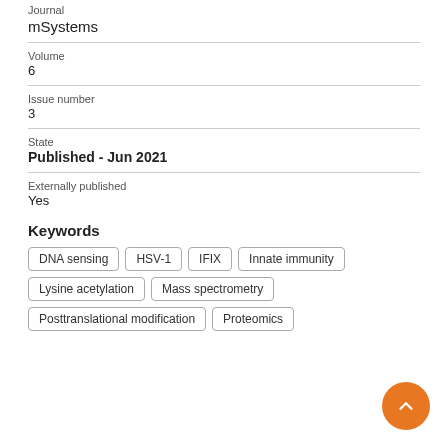Journal
mSystems
Volume
6
Issue number
3
State
Published - Jun 2021
Externally published
Yes
Keywords
DNA sensing
HSV-1
IFIX
Innate immunity
Lysine acetylation
Mass spectrometry
Posttranslational modification
Proteomics